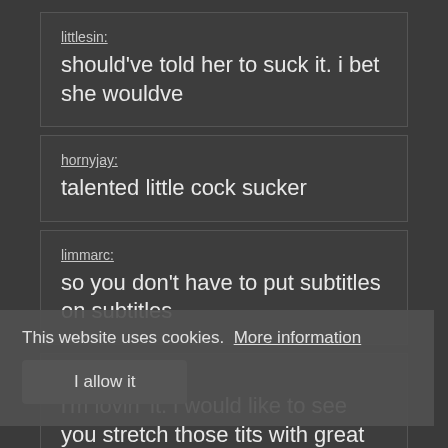littlesin:
should've told her to suck it. i bet she wouldve
hornyjay:
talented little cock sucker
limmarc:
so you don't have to put subtitles on subtitles
mrextreme:
i'm lovin 'it. i would like to see you stretch those tits with great force
This website uses cookies.  More information
I allow it